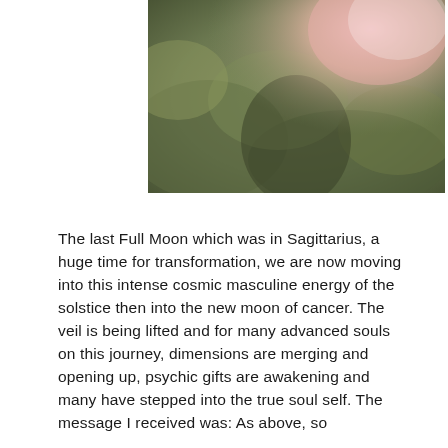[Figure (photo): A blurred nature/outdoor photograph with warm pink and muted green tones, showing soft light in the upper right area.]
The last Full Moon which was in Sagittarius, a huge time for transformation, we are now moving into this intense cosmic masculine energy of the solstice then into the new moon of cancer. The veil is being lifted and for many advanced souls on this journey, dimensions are merging and opening up, psychic gifts are awakening and many have stepped into the true soul self. The message I received was: As above, so